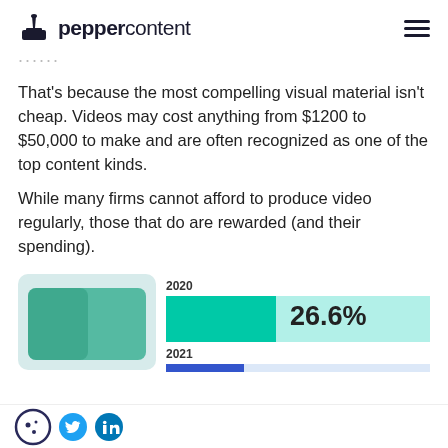peppercontent
That's because the most compelling visual material isn't cheap. Videos may cost anything from $1200 to $50,000 to make and are often recognized as one of the top content kinds.
While many firms cannot afford to produce video regularly, those that do are rewarded (and their spending).
[Figure (bar-chart): Horizontal bar chart showing 2020 at 26.6% and 2021 bar partially visible at bottom]
Cookie icon, Twitter icon, LinkedIn icon